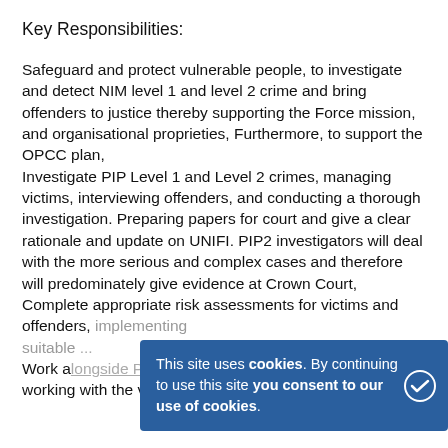Key Responsibilities:
Safeguard and protect vulnerable people, to investigate and detect NIM level 1 and level 2 crime and bring offenders to justice thereby supporting the Force mission, and organisational proprieties, Furthermore, to support the OPCC plan,
Investigate PIP Level 1 and Level 2 crimes, managing victims, interviewing offenders, and conducting a thorough investigation. Preparing papers for court and give a clear rationale and update on UNIFI. PIP2 investigators will deal with the more serious and complex cases and therefore will predominately give evidence at Crown Court,
Complete appropriate risk assessments for victims and offenders, implementing suitable... Work alongside Partner agencies to manage the risks, working with the victim care unit to support victims
This site uses cookies. By continuing to use this site you consent to our use of cookies.